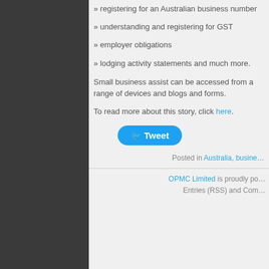» registering for an Australian business number
» understanding and registering for GST
» employer obligations
» lodging activity statements and much more.
Small business assist can be accessed from a range of devices and blogs and forms.
To read more about this story, click here.
[Figure (other): Tweet button with Twitter bird icon]
Posted in Australia, business
OPMC Limited is proudly po... Entries (RSS) and Com...